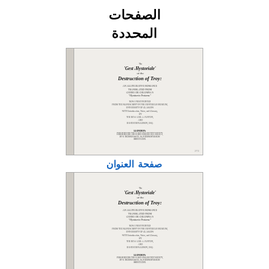الصفحات المحددة
[Figure (illustration): Scanned title page of a book: 'Gest Hystoriale' of the Destruction of Troy, an alliterative romance translated from Guido de Colonna's Historia Troiana, with Introduction, Notes, and Glossary, published in London.]
صفحة العنوان
[Figure (illustration): Second scan of the same title page of the book 'Gest Hystoriale' of the Destruction of Troy.]
جدول المحتويات